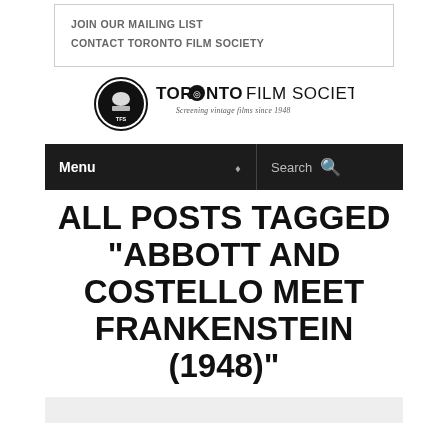JOIN OUR MAILING LIST
CONTACT TORONTO FILM SOCIETY
[Figure (logo): Toronto Film Society logo with film projector icon and text 'TORONTO FILM SOCIETY - Screening vintage films since 1948']
[Figure (screenshot): Navigation bar with Menu dropdown and Search field]
ALL POSTS TAGGED "ABBOTT AND COSTELLO MEET FRANKENSTEIN (1948)"
[Figure (other): Bottom card/article preview area]